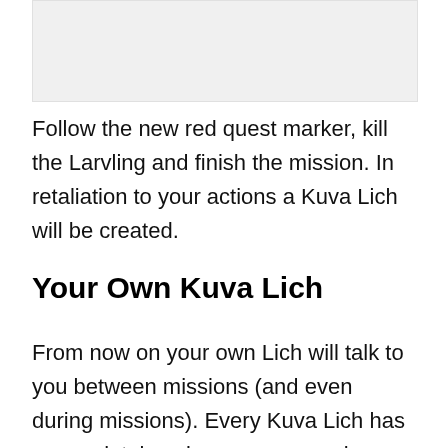[Figure (photo): Image placeholder at top of page]
Follow the new red quest marker, kill the Larvling and finish the mission. In retaliation to your actions a Kuva Lich will be created.
Your Own Kuva Lich
From now on your own Lich will talk to you between missions (and even during missions). Every Kuva Lich has a completely unique name, a unique